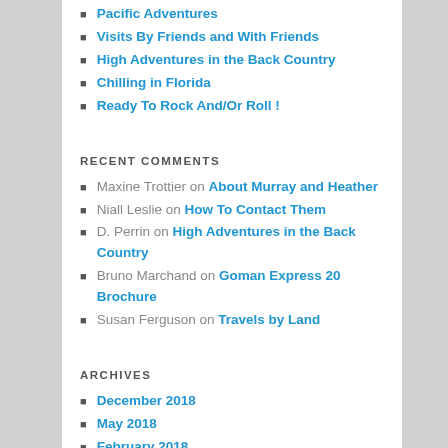Pacific Adventures
Visits By Friends and With Friends
High Adventures in the Back Country
Chilling in Florida
Ready To Rock And/Or Roll !
RECENT COMMENTS
Maxine Trottier on About Murray and Heather
Niall Leslie on How To Contact Them
D. Perrin on High Adventures in the Back Country
Bruno Marchand on Goman Express 20 Brochure
Susan Ferguson on Travels by Land
ARCHIVES
December 2018
May 2018
February 2018
December 2017
November 2017
September 2017
June 2017